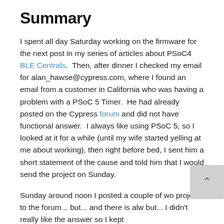Summary
I spent all day Saturday working on the firmware for the next post in my series of articles about PSoC4 BLE Centrals.  Then, after dinner I checked my email for alan_hawse@cypress.com, where I found an email from a customer in California who was having a problem with a PSoC 5 Timer.  He had already posted on the Cypress forum and did not have functional answer.  I always like using PSoC 5, so I looked at it for a while (until my wife started yelling at me about working), then right before bed, I sent him a short statement of the cause and told him that I would send the project on Sunday.
Sunday around noon I posted a couple of wo projects to the forum... but... and there is alw but... I didn't really like the answer so I kept